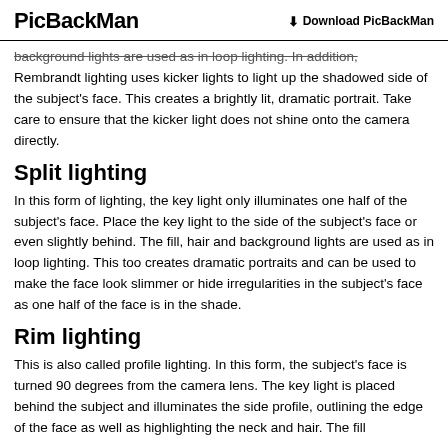PicBackMan   Download PicBackMan
background lights are used as in loop lighting.  In addition, Rembrandt lighting uses kicker lights to light up the shadowed side of the subject's face.  This creates a brightly lit, dramatic portrait.  Take care to ensure that the kicker light does not shine onto the camera directly.
Split lighting
In this form of lighting, the key light only illuminates one half of the subject's face.  Place the key light to the side of the subject's face or even slightly behind.  The fill, hair and background lights are used as in loop lighting.  This too creates dramatic portraits and can be used to make the face look slimmer or hide irregularities in the subject's face as one half of the face is in the shade.
Rim lighting
This is also called profile lighting.  In this form, the subject's face is turned 90 degrees from the camera lens.  The key light is placed behind the subject and illuminates the side profile, outlining the edge of the face as well as highlighting the neck and hair.  The fill